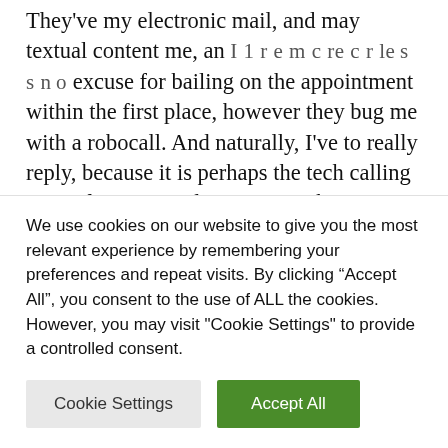They've my electronic mail, and may textual content me, an I 1 r e m c re c r le s s n o excuse for bailing on the appointment within the first place, however they bug me with a robocall. And naturally, I've to really reply, because it is perhaps the tech calling to verify a time. I don't assume they've a clue how precise clients view this expertise.
To be clear: I get that there are shortages of technicians and parts. That might be a cause for a
We use cookies on our website to give you the most relevant experience by remembering your preferences and repeat visits. By clicking "Accept All", you consent to the use of ALL the cookies. However, you may visit "Cookie Settings" to provide a controlled consent.